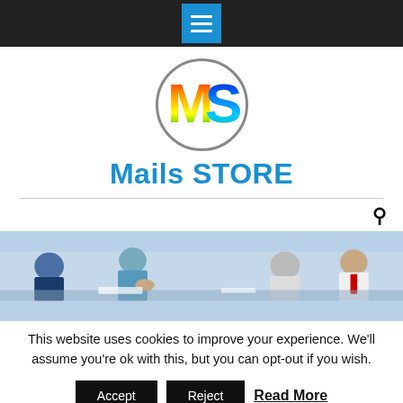Navigation bar with hamburger menu icon
[Figure (logo): Circular logo with rainbow-colored letters MS inside a gray circle]
Mails STORE
[Figure (photo): Group of medical professionals in scrubs sitting around a table in a meeting, one person standing gesturing]
This website uses cookies to improve your experience. We'll assume you're ok with this, but you can opt-out if you wish.
Accept   Reject   Read More